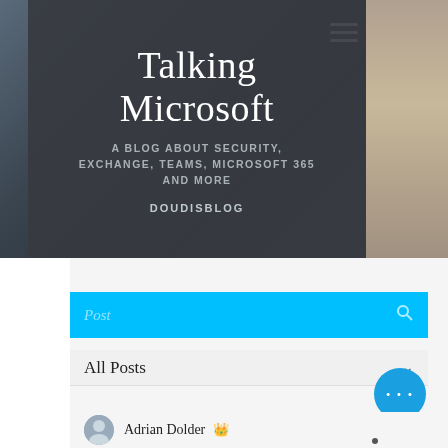[Figure (screenshot): Website header screenshot of 'Talking Microsoft' blog with dark overlay panel on a blurred office/laptop background. Shows blog title, subtitle, and slug text.]
Talking Microsoft
A BLOG ABOUT SECURITY, EXCHANGE, TEAMS, MICROSOFT 365 AND MORE
DOUDISBLOG
Post
All Posts
Adrian Dolder 👑